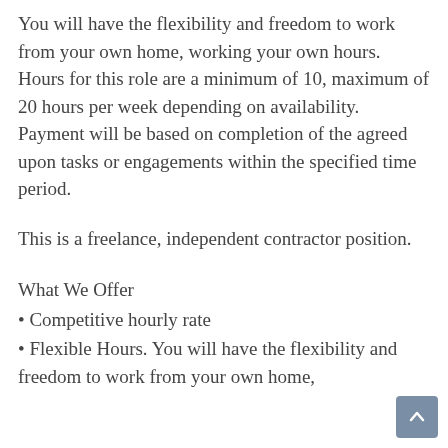You will have the flexibility and freedom to work from your own home, working your own hours. Hours for this role are a minimum of 10, maximum of 20 hours per week depending on availability. Payment will be based on completion of the agreed upon tasks or engagements within the specified time period.
This is a freelance, independent contractor position.
What We Offer
Competitive hourly rate
Flexible Hours. You will have the flexibility and freedom to work from your own home,